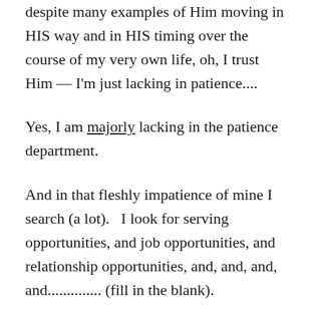despite many examples of Him moving in HIS way and in HIS timing over the course of my very own life, oh, I trust Him — I'm just lacking in patience....
Yes, I am majorly lacking in the patience department.
And in that fleshly impatience of mine I search (a lot).   I look for serving opportunities, and job opportunities, and relationship opportunities, and, and, and, and.............. (fill in the blank).
Sometimes, I even try to manipulate my situation........... (gasp!).